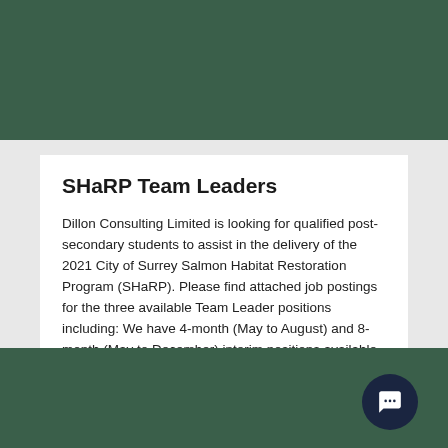SHaRP Team Leaders
Dillon Consulting Limited is looking for qualified post-secondary students to assist in the delivery of the 2021 City of Surrey Salmon Habitat Restoration Program (SHaRP). Please find attached job postings for the three available Team Leader positions including: We have 4-month (May to August) and 8-month (May to December) interim positions available for our 2021...
READ ARTICLE